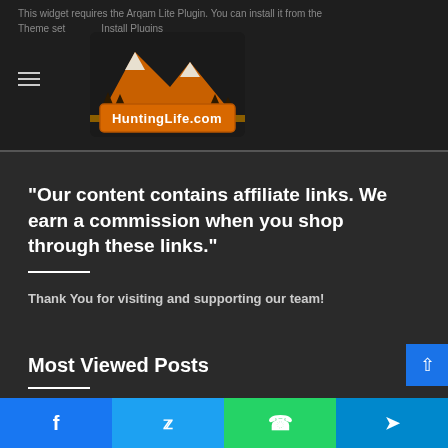This widget requires the Arqam Lite Plugin. You can install it from the Theme settings > Install Plugins
[Figure (logo): HuntingLife.com logo with orange mountain and wildlife scene background]
“Our content contains affiliate links. We earn a commission when you shop through these links.”
Thank You for visiting and supporting our team!
Most Viewed Posts
June 19, 2013
Camofire.com – Daily Deals Website for Hunting Ge